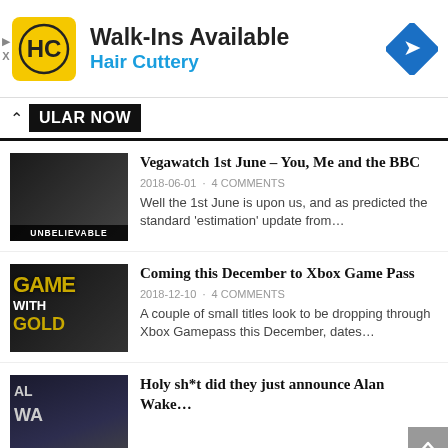[Figure (advertisement): Hair Cuttery ad banner: Walk-Ins Available, Hair Cuttery logo with yellow/black HC icon and blue navigation arrow icon]
POPULAR NOW
Vegawatch 1st June – You, Me and the BBC
2018-06-01 · 4 COMMENTS
Well the 1st June is upon us, and as predicted the standard 'estimation' update from...
Coming this December to Xbox Game Pass
2018-12-10 · 4 COMMENTS
A couple of small titles look to be dropping through Xbox Gamepass this December, dates...
Holy sh*t did they just announce Alan Wake...